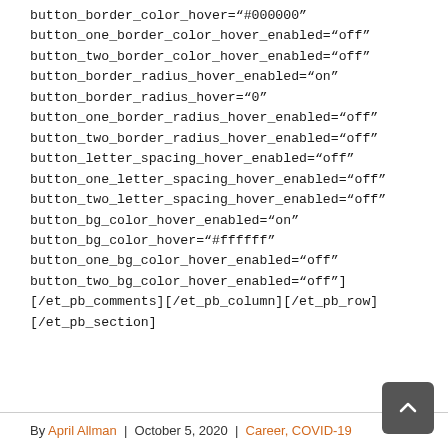button_border_color_hover="#000000"
button_one_border_color_hover_enabled="off"
button_two_border_color_hover_enabled="off"
button_border_radius_hover_enabled="on"
button_border_radius_hover="0"
button_one_border_radius_hover_enabled="off"
button_two_border_radius_hover_enabled="off"
button_letter_spacing_hover_enabled="off"
button_one_letter_spacing_hover_enabled="off"
button_two_letter_spacing_hover_enabled="off"
button_bg_color_hover_enabled="on"
button_bg_color_hover="#ffffff"
button_one_bg_color_hover_enabled="off"
button_two_bg_color_hover_enabled="off"]
[/et_pb_comments][/et_pb_column][/et_pb_row]
[/et_pb_section]
By April Allman | October 5, 2020 | Career, COVID-19